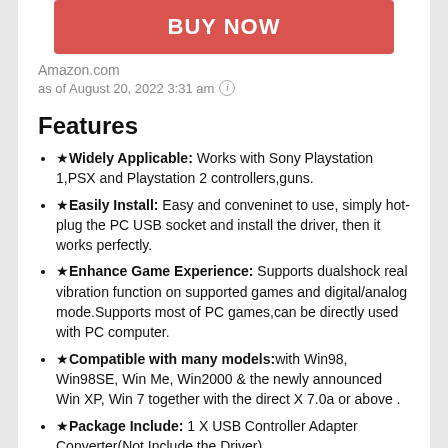[Figure (other): Red BUY NOW button]
Amazon.com
as of August 20, 2022 3:31 am ℹ
Features
★Widely Applicable: Works with Sony Playstation 1,PSX and Playstation 2 controllers,guns.
★Easily Install: Easy and conveninet to use, simply hot-plug the PC USB socket and install the driver, then it works perfectly.
★Enhance Game Experience: Supports dualshock real vibration function on supported games and digital/analog mode.Supports most of PC games,can be directly used with PC computer.
★Compatible with many models:with Win98, Win98SE, Win Me, Win2000 & the newly announced Win XP, Win 7 together with the direct X 7.0a or above .
★Package Include: 1 X USB Controller Adapter Converter(Not Include the Driver)